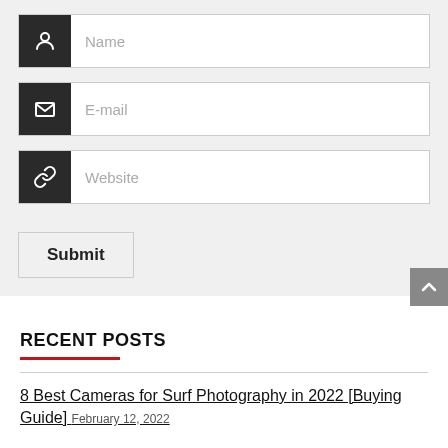[Figure (screenshot): Web form with Name, E-mail, and Website input fields with dark icons, and a Submit button, on a light gray background]
Submit
RECENT POSTS
8 Best Cameras for Surf Photography in 2022 [Buying Guide] February 12, 2022